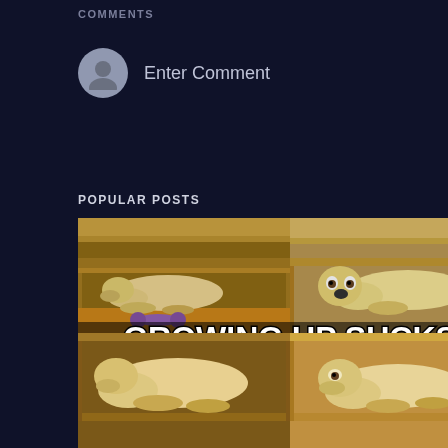COMMENTS
Enter Comment
POPULAR POSTS
[Figure (photo): A four-panel meme showing a golden retriever dog at different ages fitting into a small wooden shelf space. Top-left: puppy sleeping in shelf with a toy bone. Top-right: adolescent dog crammed in shelf looking at camera. Bottom-left and bottom-right: larger adult dogs barely fitting in shelf space. Text overlay reads 'GROWING UP SUCKS' in bold white impact-style font.]